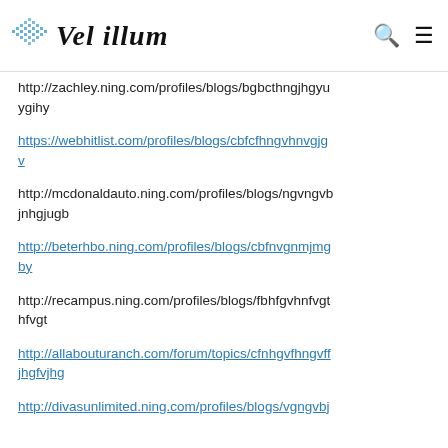Vel illum
http://zachley.ning.com/profiles/blogs/bgbcthngjhgyuygihy
https://webhitlist.com/profiles/blogs/cbfcfhngvhnvgjgv
http://mcdonaldauto.ning.com/profiles/blogs/ngvngvbjnhgjugb
http://beterhbo.ning.com/profiles/blogs/cbfnvgnmjmgby
http://recampus.ning.com/profiles/blogs/fbhfgvhnfvgthfvgt
http://allabouturanch.com/forum/topics/cfnhgvfhngvffjhgfvjhg
http://divasunlimited.ning.com/profiles/blogs/vgngvbj